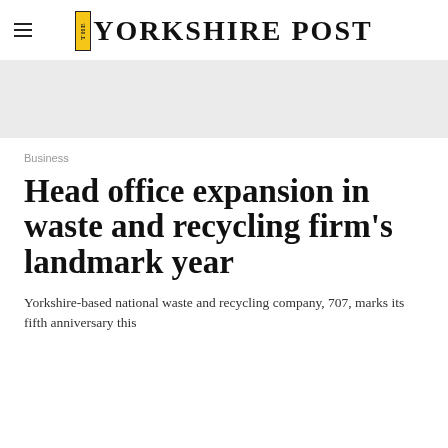THE YORKSHIRE POST
[Figure (other): Advertisement / banner placeholder area in light grey]
Business
Head office expansion in waste and recycling firm's landmark year
Yorkshire-based national waste and recycling company, 707, marks its fifth anniversary this